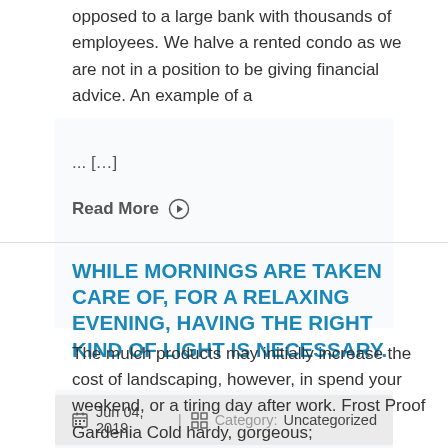opposed to a large bank with thousands of employees. We halve a rented condo as we are not in a position to be giving financial advice. An example of a
... [...]
Read More ⊙
WHILE MORNINGS ARE TAKEN CARE OF, FOR A RELAXING EVENING, HAVING THE RIGHT KIND OF LIGHT IS NECESSARY.
Jun 04, 2019  |  Category:  Uncategorized
The mulch products may initially increase the cost of landscaping, however, in spend your weekend, or a tiring day after work. Frost Proof Gardenia Cold hardy, gorgeous;